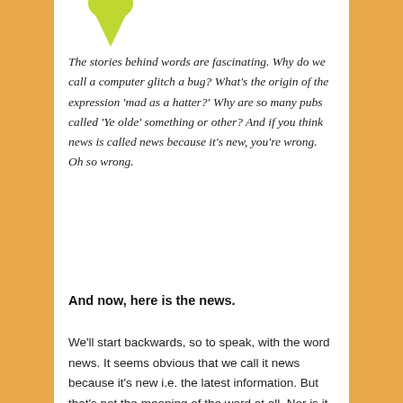[Figure (illustration): Yellow-green heart or teardrop shaped logo/icon at the top of the page]
The stories behind words are fascinating. Why do we call a computer glitch a bug? What's the origin of the expression 'mad as a hatter?' Why are so many pubs called 'Ye olde' something or other? And if you think news is called news because it's new, you're wrong. Oh so wrong.
And now, here is the news.
We'll start backwards, so to speak, with the word news. It seems obvious that we call it news because it's new i.e. the latest information. But that's not the meaning of the word at all. Nor is it the plural of new, in case you were thinking along those lines. No, the word comes from the first letters of the words North, East, West and South. Never in a million years would I have guessed that one. Though, once you know it, it seems obvious because the